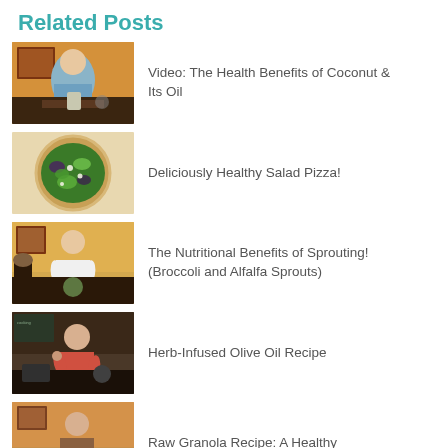Related Posts
Video: The Health Benefits of Coconut & Its Oil
Deliciously Healthy Salad Pizza!
The Nutritional Benefits of Sprouting! (Broccoli and Alfalfa Sprouts)
Herb-Infused Olive Oil Recipe
Raw Granola Recipe: A Healthy